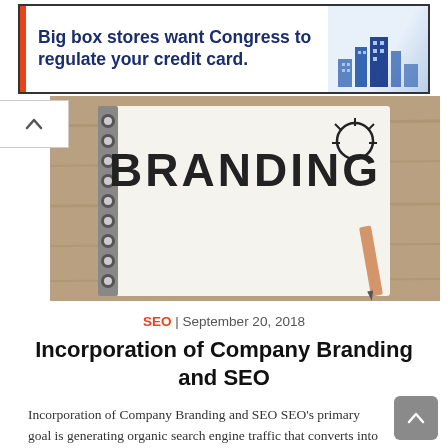[Figure (illustration): Advertisement banner: 'Big box stores want Congress to regulate your credit card.' with city skyline graphic on right and orange/red left bar accent]
[Figure (photo): Hero image of a spiral notebook with 'BRANDING' written in large letters, with a lightbulb graphic, and a pencil resting on the notebook, on a wooden surface]
SEO | September 20, 2018
Incorporation of Company Branding and SEO
Incorporation of Company Branding and SEO SEO's primary goal is generating organic search engine traffic that converts into sales and leads. However another two important valuable benefits include improving the...